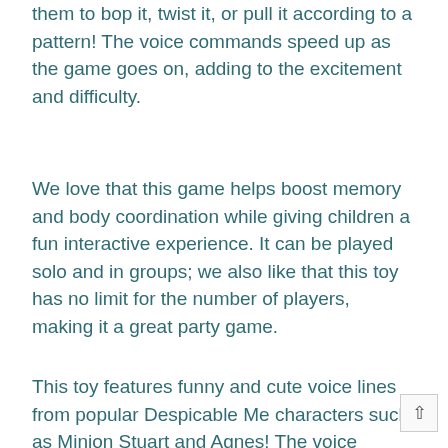them to bop it, twist it, or pull it according to a pattern! The voice commands speed up as the game goes on, adding to the excitement and difficulty.
We love that this game helps boost memory and body coordination while giving children a fun interactive experience. It can be played solo and in groups; we also like that this toy has no limit for the number of players, making it a great party game.
This toy features funny and cute voice lines from popular Despicable Me characters such as Minion Stuart and Agnes! The voice commands get faster and higher pitched as the game goes on, and once you hit 100 instructions, you win the game.